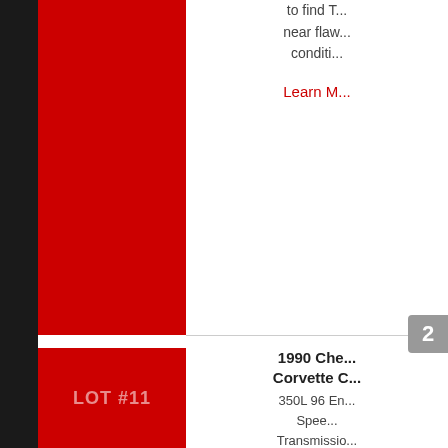to find T... near flaw... conditi...
Learn M...
1990 Che... Corvette C...
350L 96 En... Spee... Transmissio... Tires, new B... A/C, runs... drives goo... afforda... Corvet...
[Figure (photo): Teal/turquoise 1990 Chevrolet Corvette convertible parked outdoors]
LOT #11